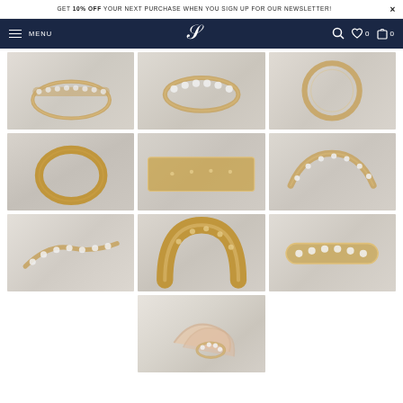GET 10% OFF YOUR NEXT PURCHASE WHEN YOU SIGN UP FOR OUR NEWSLETTER!
[Figure (screenshot): Navigation bar with hamburger menu, MENU text, monogram logo, search icon, wishlist icon with 0, shopping bag icon with 0]
[Figure (photo): Gold diamond eternity band ring - angled view showing diamonds set across the top, on marble background]
[Figure (photo): Gold diamond half eternity or cluster ring - front view on marble]
[Figure (photo): Gold plain band ring - top-down view on marble]
[Figure (photo): Gold plain wide band ring - side angled view on marble showing interior]
[Figure (photo): Gold band ring - close-up side view showing hallmark stamps on marble]
[Figure (photo): Gold channel-set diamond eternity band - angled 3/4 view on marble]
[Figure (photo): Curved/shaped diamond ring - angled view on light background]
[Figure (photo): Gold curved diamond ring - close-up on light background]
[Figure (photo): Diamond eternity band ring laid flat on light background]
[Figure (photo): Hands wearing diamond ring - lifestyle photo on white background]